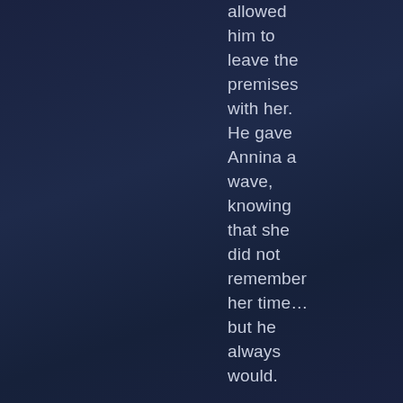allowed him to leave the premises with her. He gave Annina a wave, knowing that she did not remember her time… but he always would.

Once they disappeared into the shop, Jack